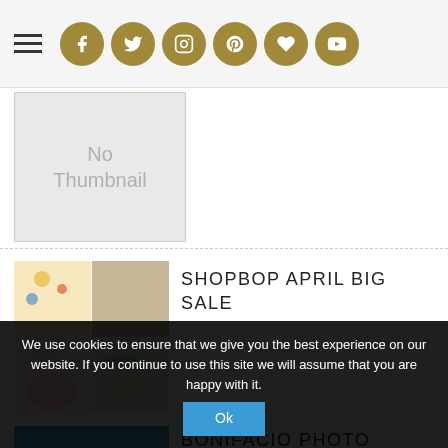Navigation header with hamburger menu and social icons
[Figure (other): No Thumbnail placeholder image box]
[Figure (photo): Shopbop April Big Sale collage of fashion items including clothing, accessories, sunglasses, and flowers]
SHOPBOP APRIL BIG SALE
[Figure (photo): Bonifacio Photo Diary blue background image]
BONIFACIO PHOTO DIARY
We use cookies to ensure that we give you the best experience on our website. If you continue to use this site we will assume that you are happy with it. Ok